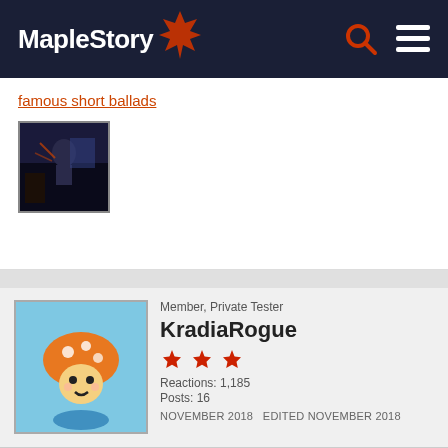MapleStory
famous short ballads
[Figure (screenshot): Game thumbnail image showing a character in a dark action scene]
Member, Private Tester
KradiaRogue
Reactions: 1,185
Posts: 16
NOVEMBER 2018   EDITED NOVEMBER 2018
[Figure (illustration): MapleStory mushroom character avatar with orange hat on blue background]
[Figure (illustration): MapleStory character sprite with white/silver hair standing on grid background]
Name: Snowlit Hair